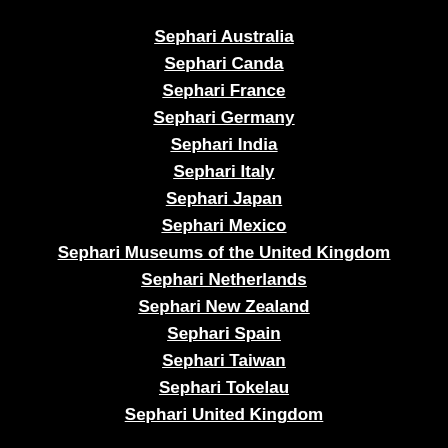Sephari Australia
Sephari Canda
Sephari France
Sephari Germany
Sephari India
Sephari Italy
Sephari Japan
Sephari Mexico
Sephari Museums of the United Kingdom
Sephari Netherlands
Sephari New Zealand
Sephari Spain
Sephari Taiwan
Sephari Tokelau
Sephari United Kingdom